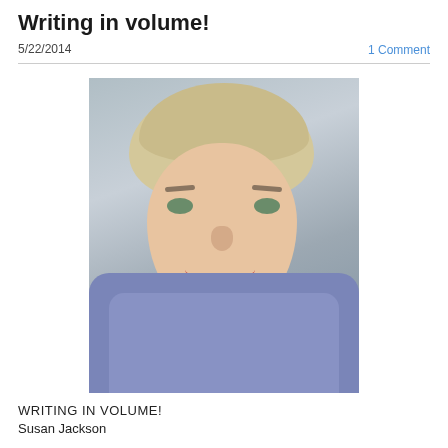Writing in volume!
5/22/2014
1 Comment
[Figure (photo): Professional headshot of a woman with short blonde hair, green eyes, wearing a blue/purple top, smiling, against a grey background]
WRITING IN VOLUME!
Susan Jackson